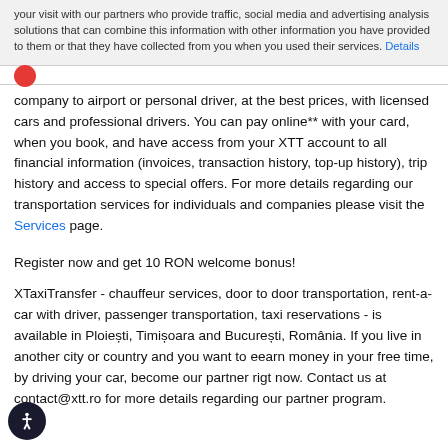your visit with our partners who provide traffic, social media and advertising analysis solutions that can combine this information with other information you have provided to them or that they have collected from you when you used their services. Details
company to airport or personal driver, at the best prices, with licensed cars and professional drivers. You can pay online** with your card, when you book, and have access from your XTT account to all financial information (invoices, transaction history, top-up history), trip history and access to special offers. For more details regarding our transportation services for individuals and companies please visit the Services page.
Register now and get 10 RON welcome bonus!
XTaxiTransfer - chauffeur services, door to door transportation, rent-a-car with driver, passenger transportation, taxi reservations - is available in Ploiești, Timișoara and București, România. If you live in another city or country and you want to eearn money in your free time, by driving your car, become our partner rigt now. Contact us at contact@xtt.ro for more details regarding our partner program.